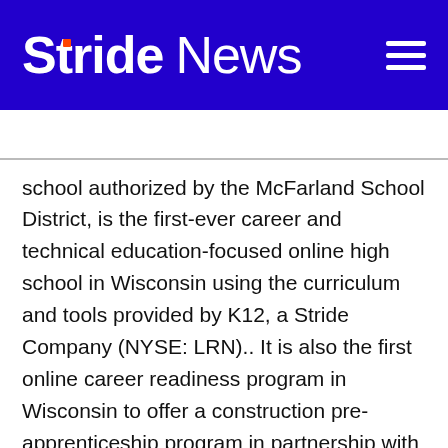Stride News
school authorized by the McFarland School District, is the first-ever career and technical education-focused online high school in Wisconsin using the curriculum and tools provided by K12, a Stride Company (NYSE: LRN).. It is also the first online career readiness program in Wisconsin to offer a construction pre-apprenticeship program in partnership with industry leaders. As part of the Wisconsin public school system, Destinations Career Academy is tuition-free and serves students statewide in grades 9-12. For more information about Destinations Career Academy of Wisconsin, visit DCAWl.k12.com